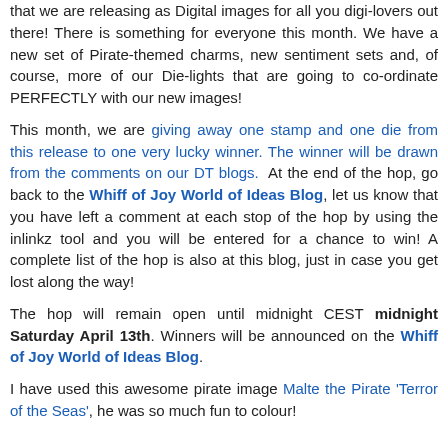that we are releasing as Digital images for all you digi-lovers out there! There is something for everyone this month. We have a new set of Pirate-themed charms, new sentiment sets and, of course, more of our Die-lights that are going to co-ordinate PERFECTLY with our new images!

This month, we are giving away one stamp and one die from this release to one very lucky winner. The winner will be drawn from the comments on our DT blogs.  At the end of the hop, go back to the Whiff of Joy World of Ideas Blog, let us know that you have left a comment at each stop of the hop by using the inlinkz tool and you will be entered for a chance to win! A complete list of the hop is also at this blog, just in case you get lost along the way!

The hop will remain open until midnight CEST midnight Saturday April 13th. Winners will be announced on the Whiff of Joy World of Ideas Blog.

I have used this awesome pirate image Malte the Pirate 'Terror of the Seas', he was so much fun to colour!